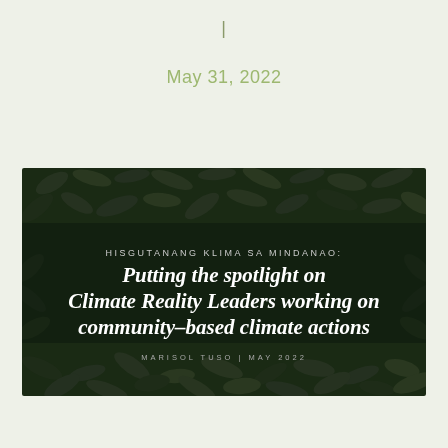|
May 31, 2022
[Figure (illustration): Dark aerial photo of tropical foliage/leaves forming background image with overlaid text. Contains subtitle 'HISGUTANANG KLIMA SA MINDANAO:' and main title 'Putting the spotlight on Climate Reality Leaders working on community-based climate actions' and byline 'MARISOL TUSO | MAY 2022']